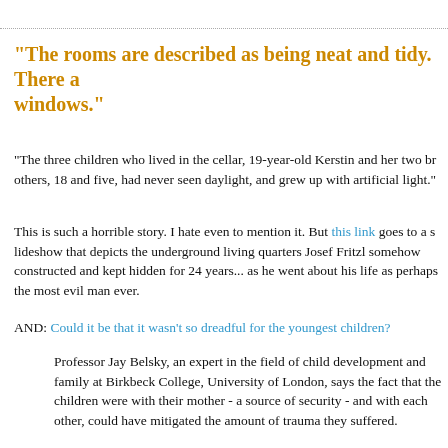"The rooms are described as being neat and tidy. There are windows."
"The three children who lived in the cellar, 19-year-old Kerstin and her two brothers, 18 and five, had never seen daylight, and grew up with artificial light."
This is such a horrible story. I hate even to mention it. But this link goes to a slideshow that depicts the underground living quarters Josef Fritzl somehow constructed and kept hidden for 24 years... as he went about his life as perhaps the most evil man ever.
AND: Could it be that it wasn't so dreadful for the youngest children?
Professor Jay Belsky, an expert in the field of child development and family policy at Birkbeck College, University of London, says the fact that the children were with their mother - a source of security - and with each other, could have mitigated the amount of trauma they suffered.